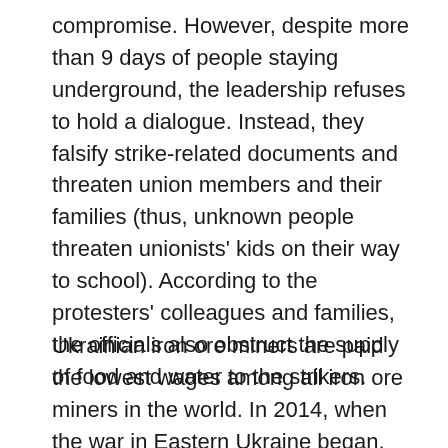compromise. However, despite more than 9 days of people staying underground, the leadership refuses to hold a dialogue. Instead, they falsify strike-related documents and threaten union members and their families (thus, unknown people threaten unionists' kids on their way to school). According to the protesters' colleagues and families, the officials also obstruct the supply of food and water to the strikers.
Ukrainian iron ore miners are paid the lowest wages among all iron ore miners in the world. In 2014, when the war in Eastern Ukraine began, the workers lost about a third of their incomes due to